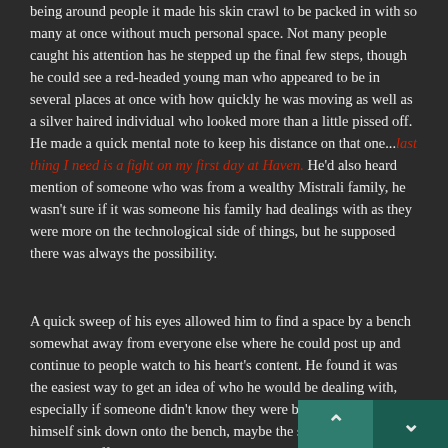being around people it made his skin crawl to be packed in with so many at once without much personal space. Not many people caught his attention has he stepped up the final few steps, though he could see a red-headed young man who appeared to be in several places at once with how quickly he was moving as well as a silver haired individual who looked more than a little pissed off. He made a quick mental note to keep his distance on that one...last thing I need is a fight on my first day at Haven. He'd also heard mention of someone who was from a wealthy Mistrali family, he wasn't sure if it was someone his family had dealings with as they were more on the technological side of things, but he supposed there was always the possibility.

A quick sweep of his eyes allowed him to find a space by a bench somewhat away from everyone else where he could post up and continue to people watch to his heart's content. He found it was the easiest way to get an idea of who he would be dealing with, especially if someone didn't know they were being watched. He let himself sink down onto the bench, maybe the stairs had taken a little more effort than he would've liked, and snapped his fingers to command his spirit to post up underneath his legs. He had no intention of letting anything go